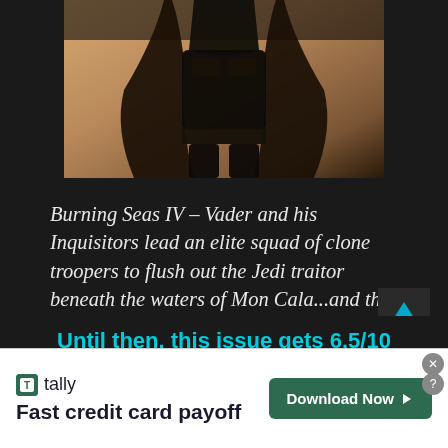[Figure (illustration): Partial view of a dark armored figure (Darth Vader) with cape, illustrated in sepia/brown tones against a tan background. Only the lower torso and legs are clearly visible.]
Burning Seas IV – Vader and his Inquisitors lead an elite squad of clone troopers to flush out the Jedi traitor beneath the waters of Mon Cala...and the oceans will burn with their fury.
Until then, this issue gets 6.5/10 STARS.
[Figure (other): Advertisement banner for Tally app: 'Fast credit card payoff' with a 'Download Now' button in dark green.]